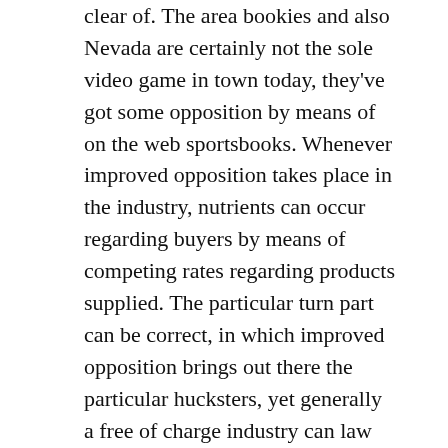clear of. The area bookies and also Nevada are certainly not the sole video game in town today, they've got some opposition by means of on the web sportsbooks. Whenever improved opposition takes place in the industry, nutrients can occur regarding buyers by means of competing rates regarding products supplied. The particular turn part can be correct, in which improved opposition brings out there the particular hucksters, yet generally a free of charge industry can law enforcement officials alone. Much like anything at all, you need to homework any time picking almost any products or services whether on the web or perhaps offline.
On the web sporting activities gambling gives you the chance to knowledge many different huge moment wagering actions inside the ease and comfort of your personal residence, 24/7. Long gone will be the nights the location where the bookie